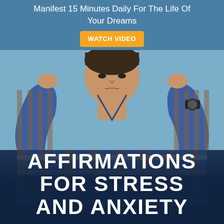Manifest 15 Minutes Daily For The Life Of Your Dreams  WATCH VIDEO
[Figure (photo): A man in a blue and brown plaid flannel shirt with hands raised to his head, looking stressed or anxious. He is wearing a dark watch on his wrist. Background is a blurred blue-grey outdoor scene.]
AFFIRMATIONS FOR STRESS AND ANXIETY